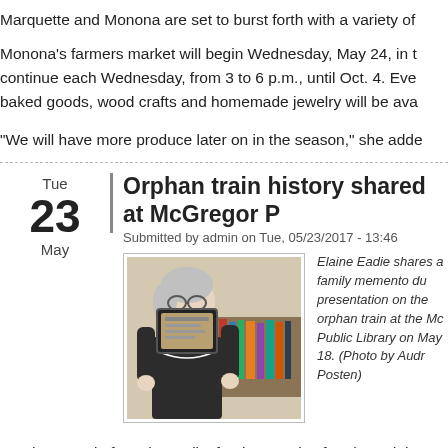Marquette and Monona are set to burst forth with a variety of
Monona’s farmers market will begin Wednesday, May 24, in t continue each Wednesday, from 3 to 6 p.m., until Oct. 4. Eve baked goods, wood crafts and homemade jewelry will be ava
“We will have more produce later on in the season,” she adde
Orphan train history shared at McGregor P
Submitted by admin on Tue, 05/23/2017 - 13:46
[Figure (photo): Elaine Eadie holds up a family memento during a presentation on the orphan train at the McGregor Public Library.]
Elaine Eadie shares a family memento du presentation on the orphan train at the Mc Public Library on May 18. (Photo by Audr Posten)
But that was, in fact, the reality for thousands of orphaned, ho were transported to new lives via the orphan train, explained McGregor Public Library May 18.